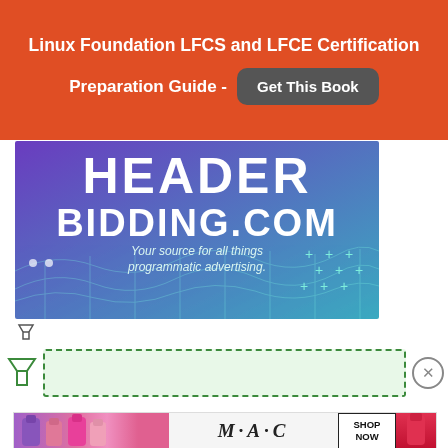Linux Foundation LFCS and LFCE Certification Preparation Guide - Get This Book
[Figure (illustration): HeaderBidding.com advertisement banner with purple-to-teal gradient background, large white text reading HEADER BIDDING.COM, tagline 'Your source for all things programmatic advertising.', grid wave graphic, decorative dots and plus signs.]
[Figure (logo): Small ad/filter icon below the HeaderBidding banner.]
[Figure (infographic): Green dashed-border bar/filter UI element with a funnel icon on the left and an X circle button on the right, on a light green background.]
[Figure (illustration): MAC cosmetics advertisement banner showing colorful lipsticks on the left, MAC logo text in center, SHOP NOW button in a box, and a red lipstick on the right.]